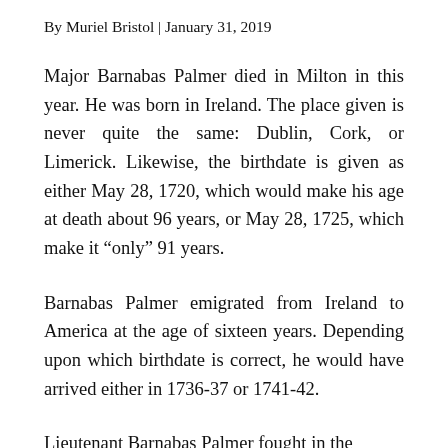By Muriel Bristol | January 31, 2019
Major Barnabas Palmer died in Milton in this year. He was born in Ireland. The place given is never quite the same: Dublin, Cork, or Limerick. Likewise, the birthdate is given as either May 28, 1720, which would make his age at death about 96 years, or May 28, 1725, which make it “only” 91 years.
Barnabas Palmer emigrated from Ireland to America at the age of sixteen years. Depending upon which birthdate is correct, he would have arrived either in 1736‑37 or 1741‑42.
Lieutenant Barnabas Palmer fought in the